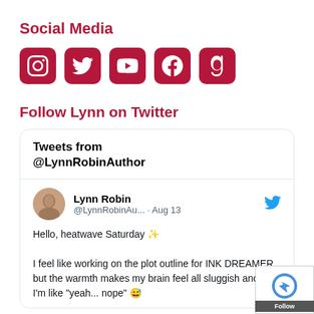Social Media
[Figure (infographic): Five social media icon buttons in dark red/crimson color: Instagram, Twitter, YouTube, Facebook, Goodreads]
Follow Lynn on Twitter
[Figure (screenshot): Twitter/X embedded widget showing tweets from @LynnRobinAuthor. Header reads 'Tweets from @LynnRobinAuthor'. Tweet from Lynn Robin (@LynnRobinAu...) dated Aug 13: 'Hello, heatwave Saturday ✨ I feel like working on the plot outline for INK DREAMER, but the warmth makes my brain feel all sluggish and now I'm like "yeah... nope" 😅'. Profile photo of a woman with reddish hair. Twitter bird icon in blue. Follow button overlay bottom right. reCAPTCHA widget partially visible bottom right.]